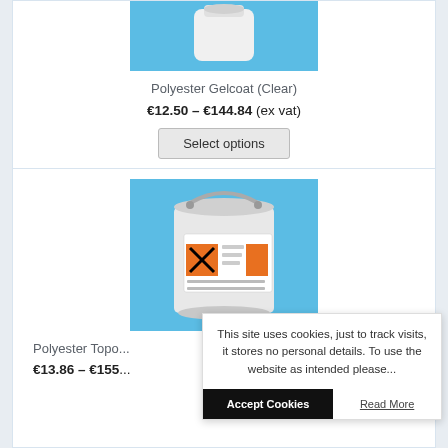[Figure (photo): Polyester Gelcoat (Clear) product image on blue background]
Polyester Gelcoat (Clear)
€12.50 – €144.84 (ex vat)
Select options
[Figure (photo): White industrial bucket with orange hazard label on blue background]
Polyester Topo...
€13.86 – €155...
This site uses cookies, just to track visits, it stores no personal details. To use the website as intended please...
Accept Cookies
Read More